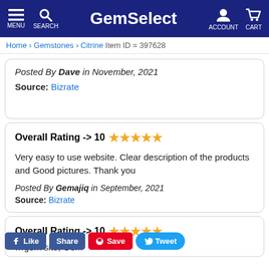GemSelect — MENU SEARCH ACCOUNT CART
Home › Gemstones › Citrine  Item ID = 397628
Posted By Dave in November, 2021
Source: Bizrate
Overall Rating -> 10 ★★★★★
Very easy to use website. Clear description of the products and Good pictures. Thank you
Posted By Gemajiq in September, 2021
Source: Bizrate
Overall Rating -> 10 ★★★★★
gem site, Gem